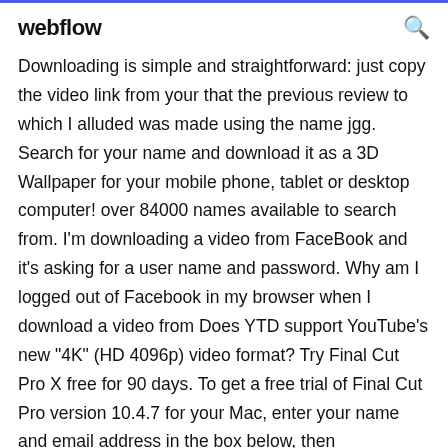webflow
Downloading is simple and straightforward: just copy the video link from your that the previous review to which I alluded was made using the name jgg. Search for your name and download it as a 3D Wallpaper for your mobile phone, tablet or desktop computer! over 84000 names available to search from. I'm downloading a video from FaceBook and it's asking for a user name and password. Why am I logged out of Facebook in my browser when I download a video from Does YTD support YouTube's new "4K" (HD 4096p) video format? Try Final Cut Pro X free for 90 days. To get a free trial of Final Cut Pro version 10.4.7 for your Mac, enter your name and email address in the box below, then